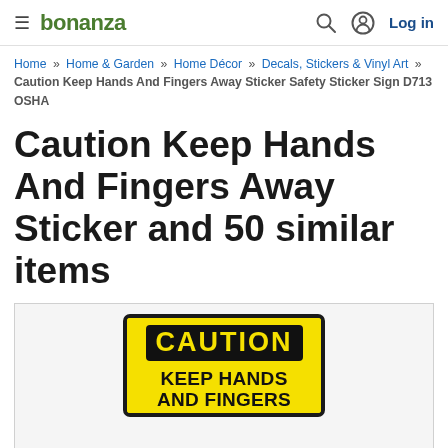bonanza  Log in
Home » Home & Garden » Home Décor » Decals, Stickers & Vinyl Art » Caution Keep Hands And Fingers Away Sticker Safety Sticker Sign D713 OSHA
Caution Keep Hands And Fingers Away Sticker and 50 similar items
[Figure (photo): Yellow and black CAUTION sign reading CAUTION KEEP HANDS AND FINGERS (partially visible)]